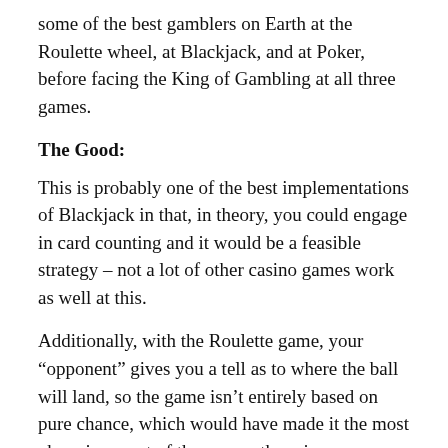some of the best gamblers on Earth at the Roulette wheel, at Blackjack, and at Poker, before facing the King of Gambling at all three games.
The Good:
This is probably one of the best implementations of Blackjack in that, in theory, you could engage in card counting and it would be a feasible strategy – not a lot of other casino games work as well at this.
Additionally, with the Roulette game, your “opponent” gives you a tell as to where the ball will land, so the game isn’t entirely based on pure chance, which would have made it the most obnoxious part of the game otherwise.
The Bad
After playing Texas Hold ‘Em games for the past year or so, going back to Five-Card Stud is difficult. In